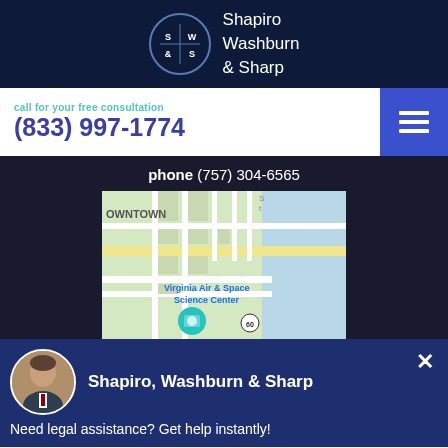Shapiro Washburn & Sharp
call for your free consultation
(833) 997-1774
phone (757) 304-6565
[Figure (map): Google Maps screenshot showing downtown Hampton area near Virginia Air & Space Science Center, route 60 visible]
Shapiro, Washburn & Sharp
Need legal assistance? Get help instantly!
FREE CASE EVALUATION